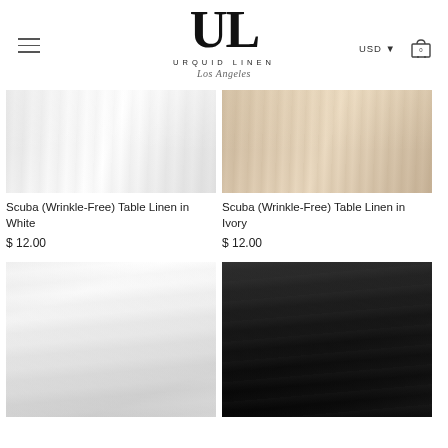[Figure (logo): Urquid Linen Los Angeles logo with stylized UL monogram]
[Figure (photo): White wrinkle-free scuba fabric draped in folds]
Scuba (Wrinkle-Free) Table Linen in White
$ 12.00
[Figure (photo): Ivory wrinkle-free scuba fabric draped in folds]
Scuba (Wrinkle-Free) Table Linen in Ivory
$ 12.00
[Figure (photo): White tablecloth draped over round table]
[Figure (photo): Black tablecloth draped over table]